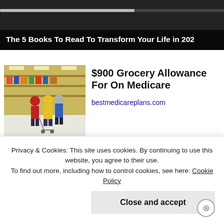[Figure (screenshot): Video player banner at top showing dark background with scrubber bar and white text overlay reading 'The 5 Books To Read To Transform Your Life in 202']
[Figure (photo): Photo of people shopping in a grocery store aisle, seen from behind, colorfully dressed shoppers with shopping carts]
$900 Grocery Allowance For On Medicare
bestmedicareplans.com
[Figure (photo): Partial photo showing blue circular shapes, partially obscured by cookie banner]
Almost Nobody Has Passed T
Privacy & Cookies: This site uses cookies. By continuing to use this website, you agree to their use.
To find out more, including how to control cookies, see here: Cookie Policy
Close and accept